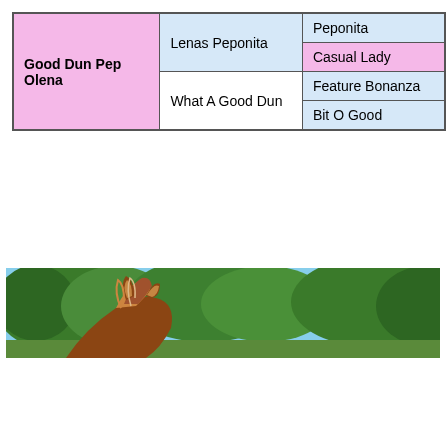| Good Dun Pep Olena | Lenas Peponita | Peponita |
| Good Dun Pep Olena | Lenas Peponita | Casual Lady |
| Good Dun Pep Olena | What A Good Dun | Feature Bonanza |
| Good Dun Pep Olena | What A Good Dun | Bit O Good |
[Figure (photo): Partial view of a horse's head and ears from behind, with trees and blue sky in the background]